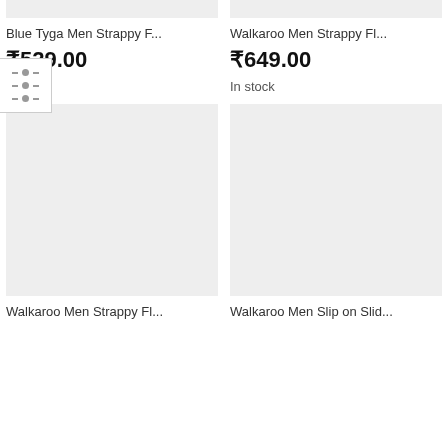[Figure (screenshot): Product listing page showing footwear items in a two-column grid layout with filter icon overlay]
Blue Tyga Men Strappy F...
₹529.00
In stock
Walkaroo Men Strappy Fl...
₹649.00
In stock
Walkaroo Men Strappy Fl...
Walkaroo Men Slip on Slid...